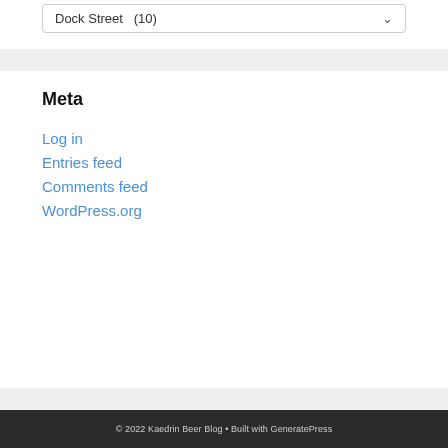Dock Street  (10)
Meta
Log in
Entries feed
Comments feed
WordPress.org
© 2022 Kaedrin Beer Blog • Built with GeneratePress